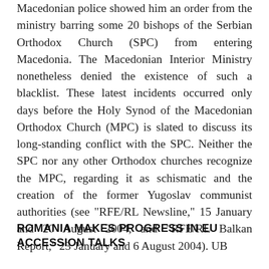Macedonian police showed him an order from the ministry barring some 20 bishops of the Serbian Orthodox Church (SPC) from entering Macedonia. The Macedonian Interior Ministry nonetheless denied the existence of such a blacklist. These latest incidents occurred only days before the Holy Synod of the Macedonian Orthodox Church (MPC) is slated to discuss its long-standing conflict with the SPC. Neither the SPC nor any other Orthodox churches recognize the MPC, regarding it as schismatic and the creation of the former Yugoslav communist authorities (see "RFE/RL Newsline," 15 January and 20 August 2004, and "RFE/RL Balkan Report," 23 January and 6 August 2004). UB
ROMANIA MAKES PROGRESS IN EU ACCESSION TALKS